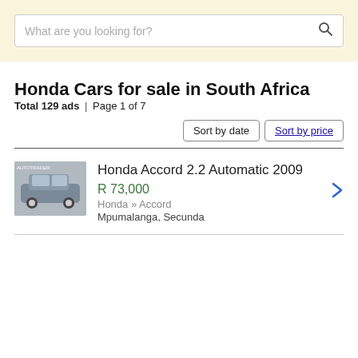[Figure (screenshot): Search bar with placeholder text 'What are you looking for?' and a search icon, on a light yellow background]
Honda Cars for sale in South Africa
Total 129 ads | Page 1 of 7
Sort by date  Sort by price
Honda Accord 2.2 Automatic 2009  R 73,000  Honda » Accord  Mpumalanga, Secunda